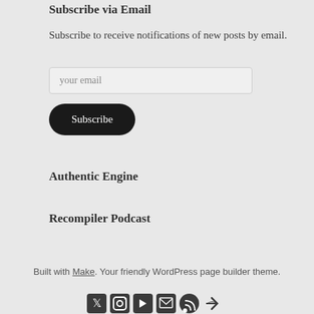Subscribe via Email
Subscribe to receive notifications of new posts by email.
your email
Subscribe
Authentic Engine
Recompiler Podcast
Built with Make. Your friendly WordPress page builder theme.